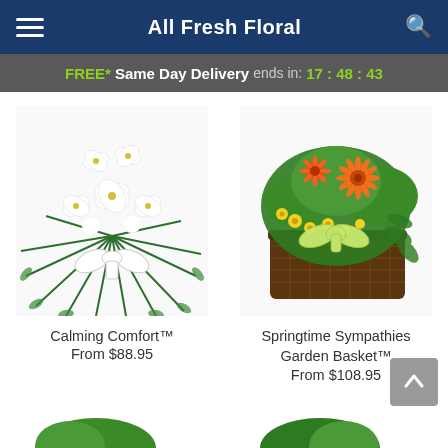All Fresh Floral
FREE* Same Day Delivery ends in: 17:48:43
[Figure (photo): White floral arrangement with lilies, greenery, and a white bow]
Calming Comfort™
From $88.95
[Figure (photo): Springtime garden basket with orange gerbera, yellow flowers, green plants in a dark wicker basket with a green bow]
Springtime Sympathies Garden Basket™
From $108.95